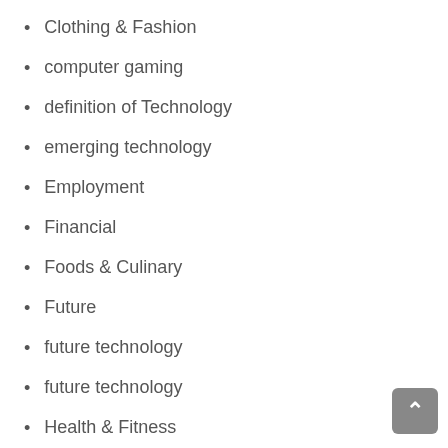Clothing & Fashion
computer gaming
definition of Technology
emerging technology
Employment
Financial
Foods & Culinary
Future
future technology
future technology
Health & Fitness
Health Care & Medical
Home Products & Services
information technology
information technology
Internet Services
latest technology
Legal
Miscellaneous
modern technology
modern technology
new technology